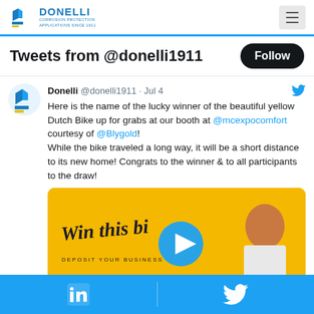Donelli - Corrosion Protection Applications Since 1911
Tweets from @donelli1911
Donelli @donelli1911 · Jul 4
Here is the name of the lucky winner of the beautiful yellow Dutch Bike up for grabs at our booth at @mcexpocomfort courtesy of @Blygold!
While the bike traveled a long way, it will be a short distance to its new home! Congrats to the winner & to all participants to the draw!
[Figure (photo): Video thumbnail showing a woman on a yellow background with text 'Win this bike - Deposit your business card' and a blue play button overlay]
LinkedIn | Twitter social links